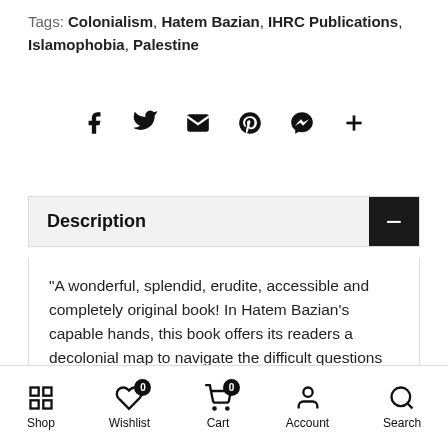Tags: Colonialism, Hatem Bazian, IHRC Publications, Islamophobia, Palestine
[Figure (infographic): Social sharing icons row: Facebook, Twitter, Email/envelope, Pinterest, Messenger, plus (+)]
Description
"A wonderful, splendid, erudite, accessible and completely original book! In Hatem Bazian's capable hands, this book offers its readers a decolonial map to navigate the difficult questions of our time. This is a tour the force in decolonial thought and Muslim decolonial politics of liberation! A must to read … "
Shop  Wishlist  Cart  Account  Search